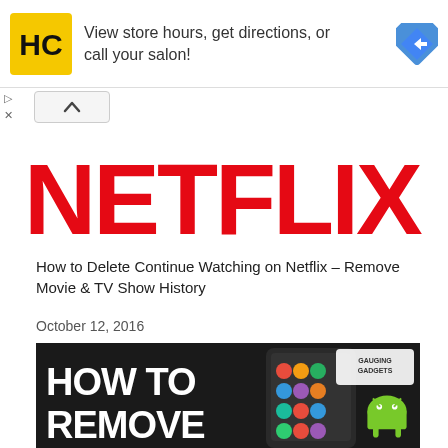[Figure (screenshot): Advertisement banner with HC logo, text 'View store hours, get directions, or call your salon!' and a blue navigation arrow icon]
[Figure (logo): Netflix logo in red bold letters on white background]
How to Delete Continue Watching on Netflix – Remove Movie & TV Show History
October 12, 2016
[Figure (photo): Image showing text 'HOW TO REMOVE' in large bold white letters over dark background, with a hand holding an Android smartphone showing app icons, and an Android robot logo. 'GAUGING GADGETS' watermark visible.]